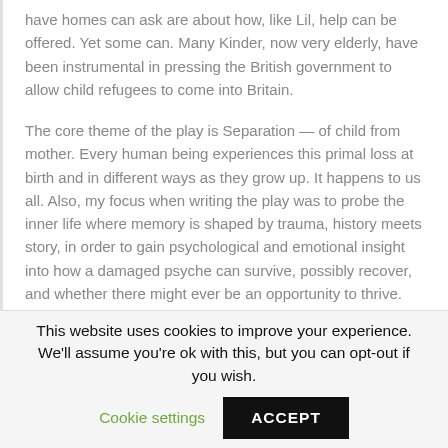have homes can ask are about how, like Lil, help can be offered. Yet some can. Many Kinder, now very elderly, have been instrumental in pressing the British government to allow child refugees to come into Britain.
The core theme of the play is Separation — of child from mother. Every human being experiences this primal loss at birth and in different ways as they grow up. It happens to us all. Also, my focus when writing the play was to probe the inner life where memory is shaped by trauma, history meets story, in order to gain psychological and emotional insight into how a damaged psyche can survive, possibly recover, and whether there might ever be an opportunity to thrive.
This website uses cookies to improve your experience. We'll assume you're ok with this, but you can opt-out if you wish. Cookie settings ACCEPT